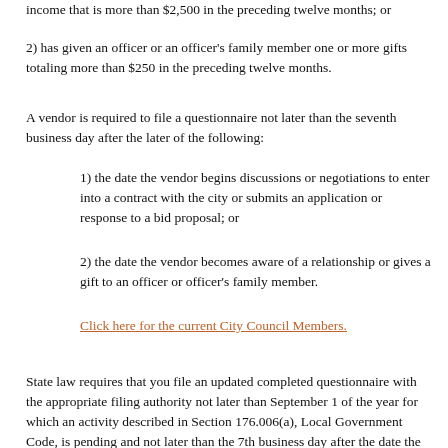income that is more than $2,500 in the preceding twelve months; or
2) has given an officer or an officer's family member one or more gifts totaling more than $250 in the preceding twelve months.
A vendor is required to file a questionnaire not later than the seventh business day after the later of the following:
1) the date the vendor begins discussions or negotiations to enter into a contract with the city or submits an application or response to a bid proposal; or
2) the date the vendor becomes aware of a relationship or gives a gift to an officer or officer's family member.
Click here for the current City Council Members.
State law requires that you file an updated completed questionnaire with the appropriate filing authority not later than September 1 of the year for which an activity described in Section 176.006(a), Local Government Code, is pending and not later than the 7th business day after the date the originally filed questionnaire becomes incomplete or inaccurate.